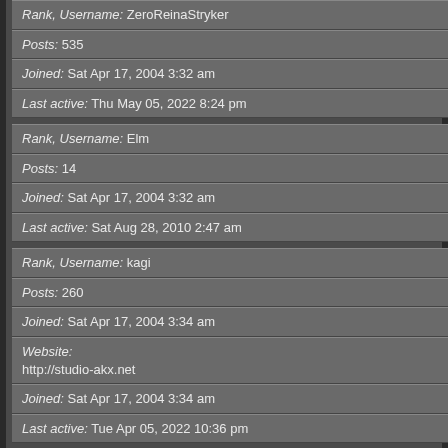| Rank, Username: | ZeroReinaStryker |
| Posts: | 535 |
| Joined: | Sat Apr 17, 2004 3:32 am |
| Last active: | Thu May 05, 2022 8:24 pm |
| Rank, Username: | Elm |
| Posts: | 14 |
| Joined: | Sat Apr 17, 2004 3:32 am |
| Last active: | Sat Aug 28, 2010 2:47 am |
| Rank, Username: | kagi |
| Posts: | 260 |
| Website: | http://studio-akx.net |
| Joined: | Sat Apr 17, 2004 3:34 am |
| Last active: | Tue Apr 05, 2022 10:36 pm |
| Rank, Username: | Site Admin Maji |
| Posts: | 93 |
| Website: | http://www.superstock.com |
| Joined: | Sat Apr 17, 2004 3:37 am |